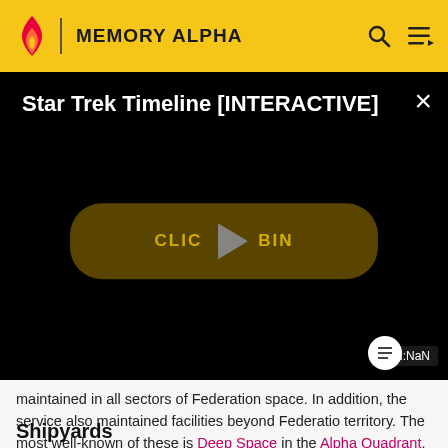MEMORY ALPHA
[Figure (screenshot): Video player panel showing 'Star Trek Timeline [INTERACTIVE]' on a black background with a play button overlaid on a dark pill-shaped button reading 'CLICK TO BEGIN'. A close (×) button is in the top right. A 'NaN:NaN' timestamp label appears at the bottom right.]
maintained in all sectors of Federation space. In addition, the service also maintained facilities beyond Federation territory. The most well-known of these is Deep Space in the Alpha Quadrant. (Star Trek: Deep Space Nine)
Shipyards